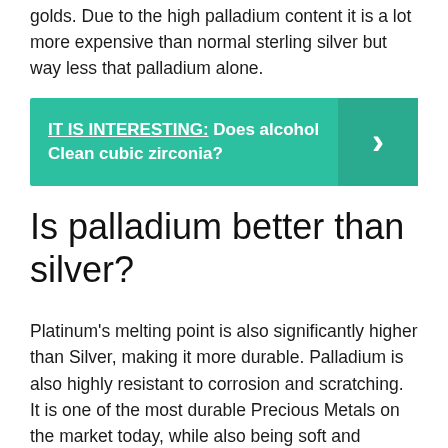golds. Due to the high palladium content it is a lot more expensive than normal sterling silver but way less that palladium alone.
[Figure (infographic): Teal/green callout box with text: IT IS INTERESTING: Does alcohol Clean cubic zirconia? with a right-arrow chevron on the right side.]
Is palladium better than silver?
Platinum’s melting point is also significantly higher than Silver, making it more durable. Palladium is also highly resistant to corrosion and scratching. It is one of the most durable Precious Metals on the market today, while also being soft and ductile.